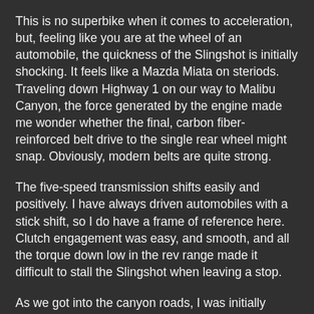This is no superbike when it comes to acceleration, but, feeling like you are at the wheel of an automobile, the quickness of the Slingshot is initially shocking. It feels like a Mazda Miata on steriods. Traveling down Highway 1 on our way to Malibu Canyon, the force generated by the engine made me wonder whether the final, carbon fiber-reinforced belt drive to the single rear wheel might snap. Obviously, modern belts are quite strong.
The five-speed transmission shifts easily and positively. I have always driven automobiles with a stick shift, so I do have a frame of reference here. Clutch engagement was easy, and smooth, and all the torque down low in the rev range made it difficult to stall the Slingshot when leaving a stop.
As we got into the canyon roads, I was initially frustrated by a slower driver that insisted (quite